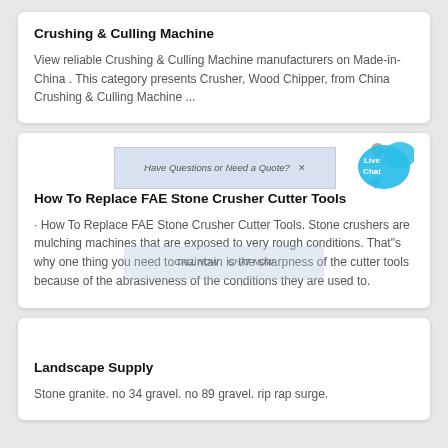Crushing & Culling Machine
View reliable Crushing & Culling Machine manufacturers on Made-in-China . This category presents Crusher, Wood Chipper, from China Crushing & Culling Machine ...
How To Replace FAE Stone Crusher Cutter Tools
[Figure (screenshot): Ad overlay with text 'Have Questions or Need a Quote?' and a Live Chat bubble graphic overlaid on the second card]
· How To Replace FAE Stone Crusher Cutter Tools. Stone crushers are mulching machines that are exposed to very rough conditions. That"s why one thing you need to maintain is the sharpness of the cutter tools because of the abrasiveness of the conditions they are used to.
Landscape Supply
Stone granite. no 34 gravel. no 89 gravel. rip rap surge.